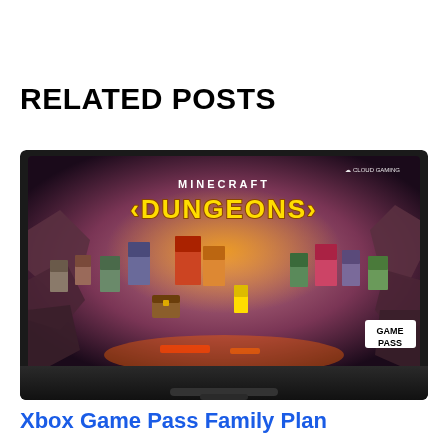RELATED POSTS
[Figure (screenshot): Minecraft Dungeons game cover art showing blocky characters battling in a dungeon environment, with 'MINECRAFT DUNGEONS' title text and 'GAME PASS' badge, displayed on a TV screen. Cloud Gaming label visible in top right.]
Xbox Game Pass Family Plan